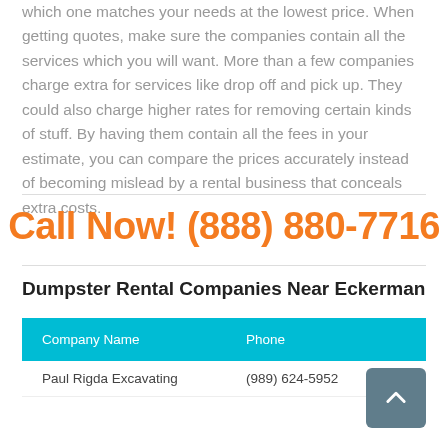which one matches your needs at the lowest price. When getting quotes, make sure the companies contain all the services which you will want. More than a few companies charge extra for services like drop off and pick up. They could also charge higher rates for removing certain kinds of stuff. By having them contain all the fees in your estimate, you can compare the prices accurately instead of becoming mislead by a rental business that conceals extra costs.
Call Now! (888) 880-7716
Dumpster Rental Companies Near Eckerman
| Company Name | Phone |
| --- | --- |
| Paul Rigda Excavating | (989) 624-5952 |